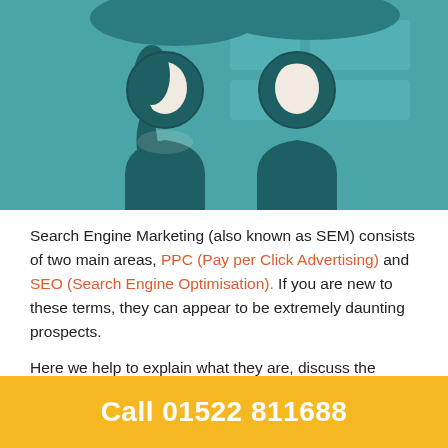[Figure (illustration): Illustration of two stylized people (one with long hair, one with short hair) with teal/dark teal coloring on a teal background with speech bubble shapes, suggesting a conversation or marketing discussion.]
Search Engine Marketing (also known as SEM) consists of two main areas, PPC (Pay per Click Advertising) and SEO (Search Engine Optimisation). If you are new to these terms, they can appear to be extremely daunting prospects.
Here we help to explain what they are, discuss the differences between the two of them, why they are important for increasing sales and revenue, and which one will work best for your business.
Call 01522 811688